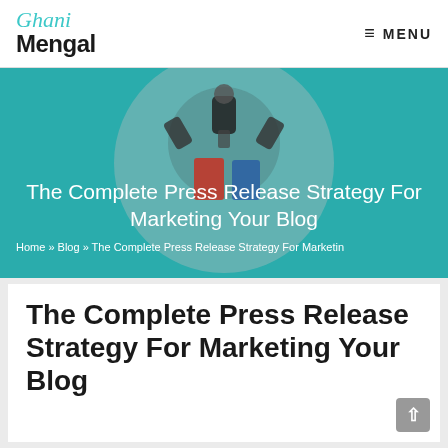Ghani Mengal — MENU
[Figure (screenshot): Website hero banner with teal background, circular microphone image, and page title overlay]
The Complete Press Release Strategy For Marketing Your Blog
Home » Blog » The Complete Press Release Strategy For Marketin
The Complete Press Release Strategy For Marketing Your Blog